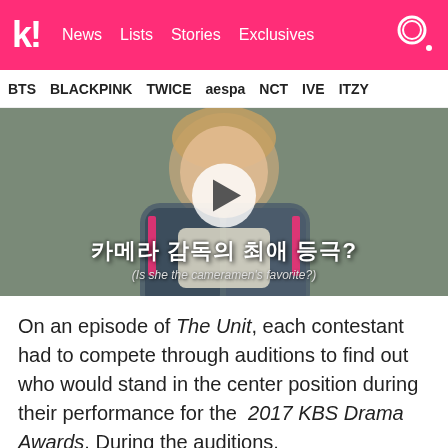k! News Lists Stories Exclusives
BTS BLACKPINK TWICE aespa NCT IVE ITZY
[Figure (screenshot): Video thumbnail showing a female contestant on The Unit with Korean subtitle text '카메라 감독의 최애 등극?' and English translation '(Is she the cameramen's favorite?)' with a play button overlay]
On an episode of The Unit, each contestant had to compete through auditions to find out who would stand in the center position during their performance for the 2017 KBS Drama Awards. During the auditions,